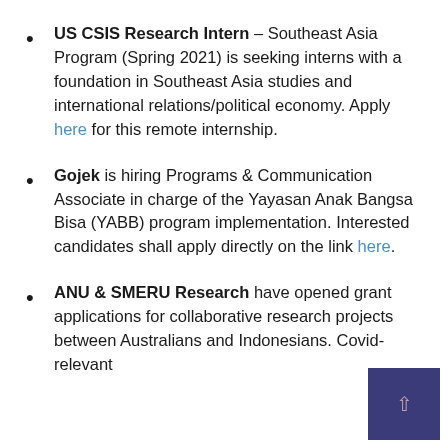US CSIS Research Intern – Southeast Asia Program (Spring 2021) is seeking interns with a foundation in Southeast Asia studies and international relations/political economy. Apply here for this remote internship.
Gojek is hiring Programs & Communication Associate in charge of the Yayasan Anak Bangsa Bisa (YABB) program implementation. Interested candidates shall apply directly on the link here.
ANU & SMERU Research have opened grant applications for collaborative research projects between Australians and Indonesians. Covid-relevant